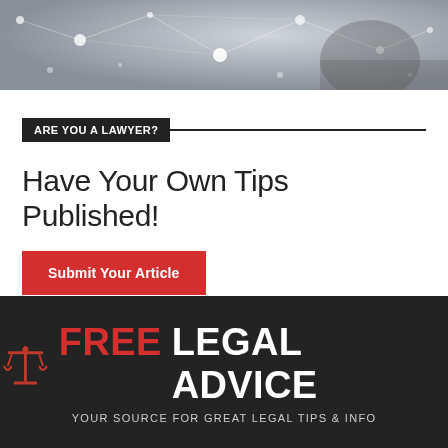[Figure (illustration): Abstract network/technology banner image with grey tones, dots and connecting lines]
ARE YOU A LAWYER?
Have Your Own Tips Published!
Submit Your Article
[Figure (logo): Free Legal Advice logo with red scales of justice icon, red FREE text, white LEGAL ADVICE text, and tagline YOUR SOURCE FOR GREAT LEGAL TIPS & INFO on dark background]